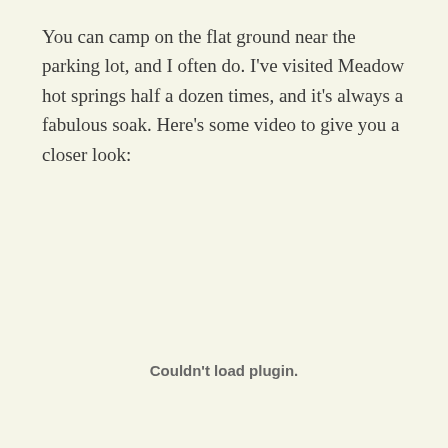You can camp on the flat ground near the parking lot, and I often do.  I've visited Meadow hot springs half a dozen times, and it's always a fabulous soak.  Here's some video to give you a closer look:
[Figure (other): Embedded video plugin area showing 'Couldn't load plugin.' message]